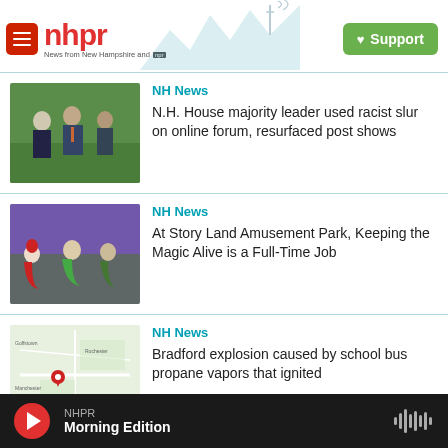[Figure (logo): NHPR logo with hamburger menu icon, red text wordmark, mountain skyline illustration, and green Support button]
NH News
N.H. House majority leader used racist slur on online forum, resurfaced post shows
NH News
At Story Land Amusement Park, Keeping the Magic Alive is a Full-Time Job
NH News
Bradford explosion caused by school bus propane vapors that ignited
NHPR Morning Edition